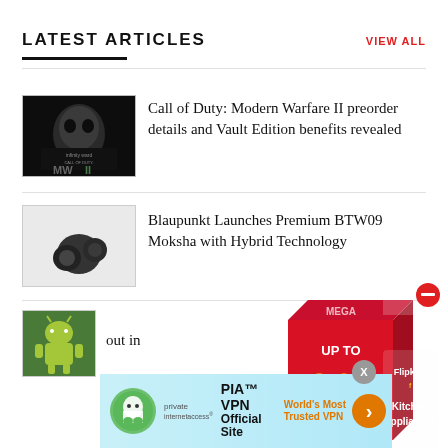LATEST ARTICLES
VIEW ALL
[Figure (photo): Call of Duty: Modern Warfare II game artwork with skull mask and MWII logo on dark background]
Call of Duty: Modern Warfare II preorder details and Vault Edition benefits revealed
[Figure (photo): Blaupunkt BTW09 Moksha wireless earbuds on grey background]
Blaupunkt Launches Premium BTW09 Moksha with Hybrid Technology
[Figure (photo): Android robot with green background - third article thumbnail]
out in
[Figure (infographic): Flipkart ad overlay: red box with cube icon, UP TO 70% OFF, Kitchen Appliances]
[Figure (infographic): PIA VPN Official Site banner ad - World's Most Trusted VPN with arrow button. Close X button visible.]